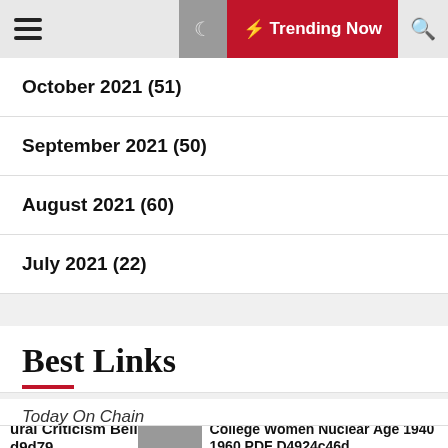Trending Now
October 2021 (51)
September 2021 (50)
August 2021 (60)
July 2021 (22)
Best Links
Today On Chain
ural Criticism Bell d9d79
College Women Nuclear Age 1940 1960 PDF D4924c46d